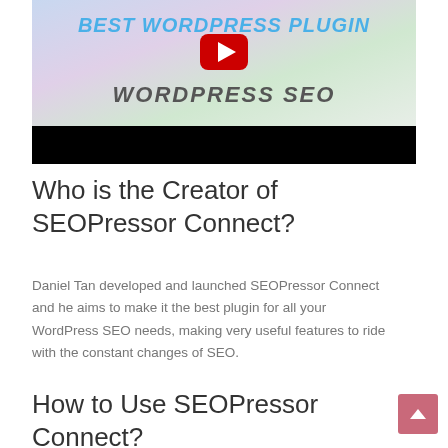[Figure (screenshot): YouTube video thumbnail showing 'BEST WORDPRESS PLUGIN' title in blue text, a red YouTube play button, and 'WORDPRESS SEO' in bold italic gray text, with a black bar at the bottom]
Who is the Creator of SEOPressor Connect?
Daniel Tan developed and launched SEOPressor Connect and he aims to make it the best plugin for all your WordPress SEO needs, making very useful features to ride with the constant changes of SEO.
How to Use SEOPressor Connect?